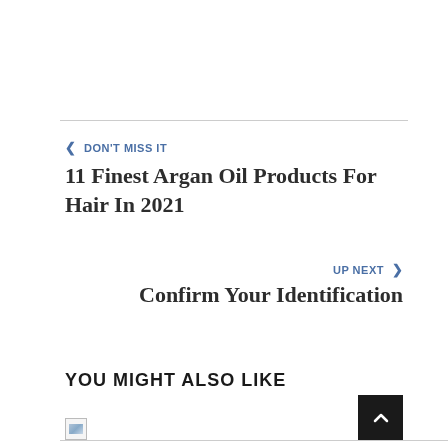< DON'T MISS IT
11 Finest Argan Oil Products For Hair In 2021
UP NEXT >
Confirm Your Identification
YOU MIGHT ALSO LIKE
[Figure (photo): Broken/loading image thumbnail at bottom of page]